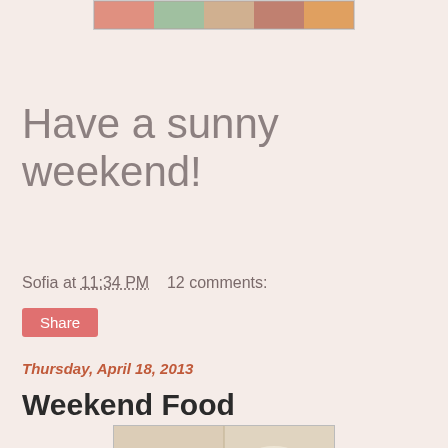[Figure (photo): Colorful food collage banner image at top of blog page]
Have a sunny weekend!
Sofia at 11:34 PM    12 comments:
Share
Thursday, April 18, 2013
Weekend Food
[Figure (photo): Food photo showing a cup or bowl on a checkered cloth]